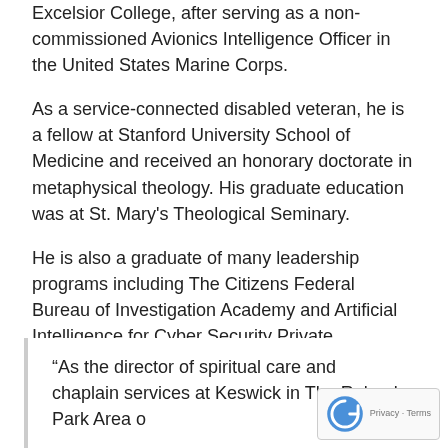Excelsior College, after serving as a non-commissioned Avionics Intelligence Officer in the United States Marine Corps.
As a service-connected disabled veteran, he is a fellow at Stanford University School of Medicine and received an honorary doctorate in metaphysical theology. His graduate education was at St. Mary's Theological Seminary.
He is also a graduate of many leadership programs including The Citizens Federal Bureau of Investigation Academy and Artificial Intelligence for Cyber Security Private Intelligence. He enjoys membership with The Masons (Scottish Rite, York Rite, Memphis-Misraim and Mystic), Boumi Shriners (Elite Provost Guard), Omega Psi Phi Fraternity, Inc. and The Rathbone Guardians men Boule of The Knights of Pythias.
“As the director of spiritual care and chaplain services at Keswick in The Roland Park Area of